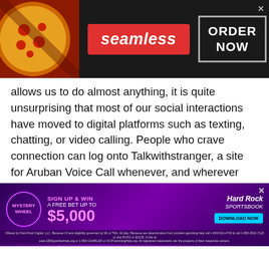[Figure (screenshot): Seamless food delivery advertisement banner with pizza image, red Seamless logo, and ORDER NOW box on dark background]
allows us to do almost anything, it is quite unsurprising that most of our social interactions have moved to digital platforms such as texting, chatting, or video calling. People who crave connection can log onto Talkwithstranger, a site for Aruban Voice Call whenever, and wherever they want.
The platform brings tremendous advantages to its users which explains the rapid growth of users on a daily basis. Here is why users pick our online chatting platform to interact with strangers:
[Figure (screenshot): Hard Rock Sportsbook advertisement: Mystery Wheel, Sign Up & Win a Free Bet Up to $5,000, Download Now button, disclaimer text]